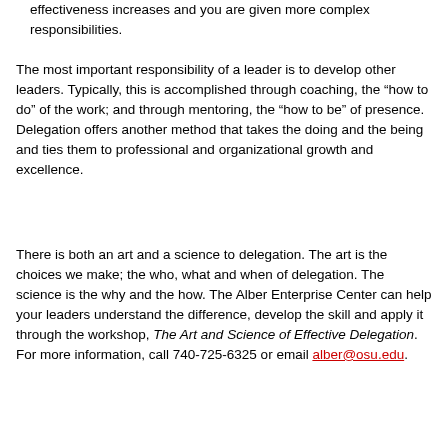effectiveness increases and you are given more complex responsibilities.
The most important responsibility of a leader is to develop other leaders. Typically, this is accomplished through coaching, the “how to do” of the work; and through mentoring, the “how to be” of presence. Delegation offers another method that takes the doing and the being and ties them to professional and organizational growth and excellence.
There is both an art and a science to delegation. The art is the choices we make; the who, what and when of delegation. The science is the why and the how. The Alber Enterprise Center can help your leaders understand the difference, develop the skill and apply it through the workshop, The Art and Science of Effective Delegation. For more information, call 740-725-6325 or email alber@osu.edu.